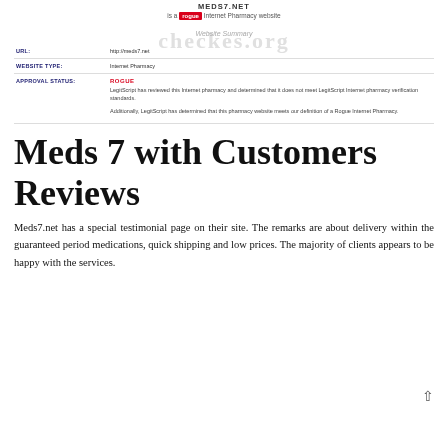MEDS7.NET
is a rogue Internet Pharmacy website
Website Summary
| Field | Value |
| --- | --- |
| URL: | http://meds7.net |
| WEBSITE TYPE: | Internet Pharmacy |
| APPROVAL STATUS: | ROGUE |
LegitScript has reviewed this Internet pharmacy and determined that it does not meet LegitScript Internet pharmacy verification standards.

Additionally, LegitScript has determined that this pharmacy website meets our definition of a Rogue Internet Pharmacy.
Meds 7 with Customers Reviews
Meds7.net has a special testimonial page on their site. The remarks are about delivery within the guaranteed period medications, quick shipping and low prices. The majority of clients appears to be happy with the services.